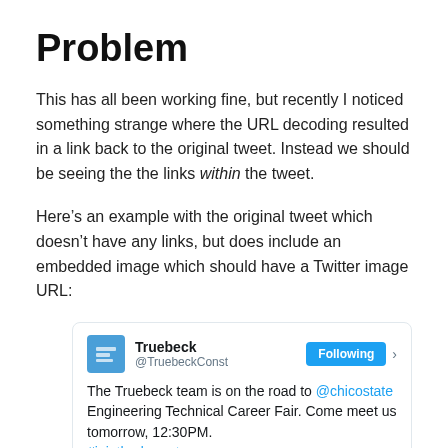Problem
This has all been working fine, but recently I noticed something strange where the URL decoding resulted in a link back to the original tweet. Instead we should be seeing the the links within the tweet.
Here’s an example with the original tweet which doesn’t have any links, but does include an embedded image which should have a Twitter image URL:
[Figure (screenshot): Embedded tweet from @TruebeckConst showing: 'The Truebeck team is on the road to @chicostate Engineering Technical Career Fair. Come meet us tomorrow, 12:30PM. #jointhedreamteam' with a Following button and an image of a bird mascot.]